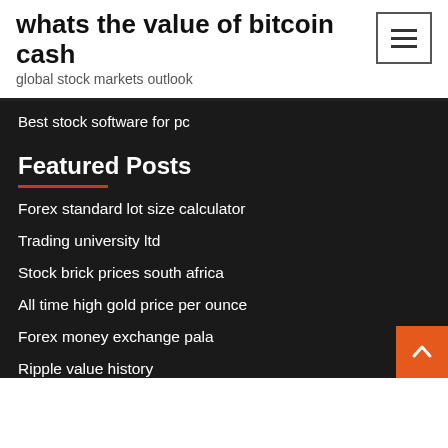whats the value of bitcoin cash
global stock markets outlook
Best stock software for pc
Featured Posts
Forex standard lot size calculator
Trading university ltd
Stock brick prices south africa
All time high gold price per ounce
Forex money exchange pala
Ripple value history